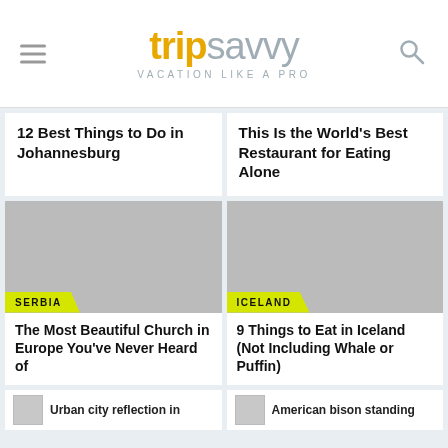tripsavvy VACATION LIKE A PRO
12 Best Things to Do in Johannesburg
This Is the World's Best Restaurant for Eating Alone
[Figure (photo): Photo placeholder for Serbia article with SERBIA tag]
The Most Beautiful Church in Europe You've Never Heard of
[Figure (photo): Photo placeholder for Iceland article with ICELAND tag]
9 Things to Eat in Iceland (Not Including Whale or Puffin)
Urban city reflection in
American bison standing